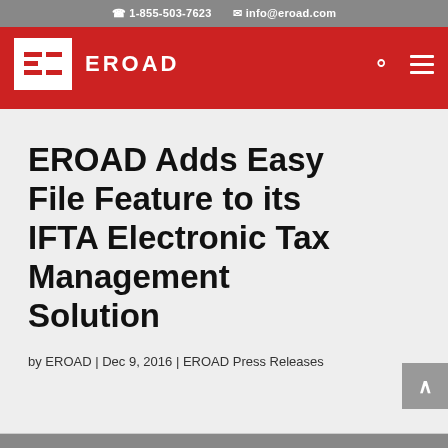1-855-503-7623  info@eroad.com
[Figure (logo): EROAD logo with white stylized 'E' icon on red background and EROAD brand name in white text]
EROAD Adds Easy File Feature to its IFTA Electronic Tax Management Solution
by EROAD | Dec 9, 2016 | EROAD Press Releases
Share This